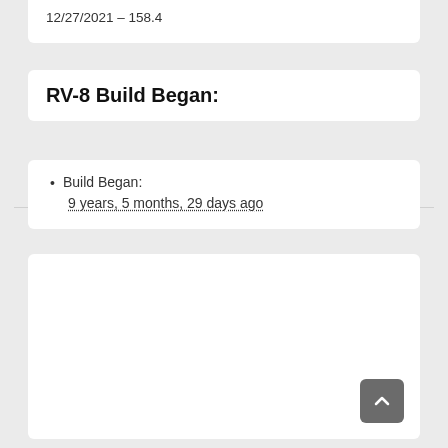12/27/2021 – 158.4
RV-8 Build Began:
Build Began: 9 years, 5 months, 29 days ago